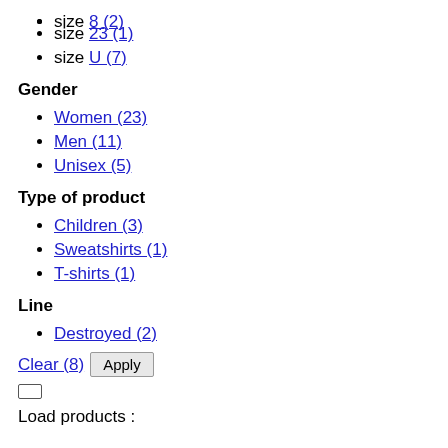size 8 (2)
size 23 (1)
size U (7)
Gender
Women (23)
Men (11)
Unisex (5)
Type of product
Children (3)
Sweatshirts (1)
T-shirts (1)
Line
Destroyed (2)
Clear (8)  Apply
Load products :